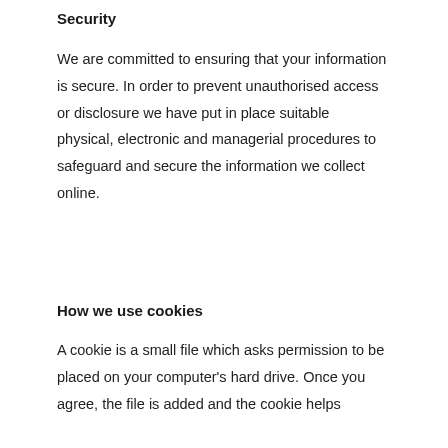Security
We are committed to ensuring that your information is secure. In order to prevent unauthorised access or disclosure we have put in place suitable physical, electronic and managerial procedures to safeguard and secure the information we collect online.
How we use cookies
A cookie is a small file which asks permission to be placed on your computer's hard drive. Once you agree, the file is added and the cookie helps